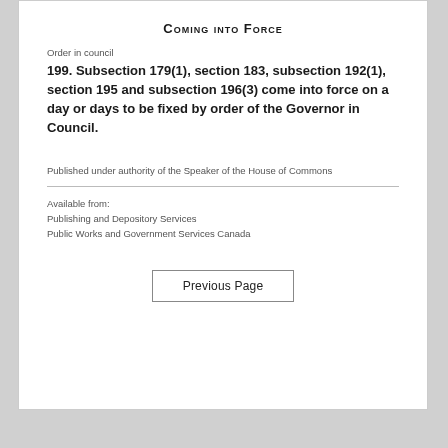Coming into Force
Order in council
199. Subsection 179(1), section 183, subsection 192(1), section 195 and subsection 196(3) come into force on a day or days to be fixed by order of the Governor in Council.
Published under authority of the Speaker of the House of Commons
Available from:
Publishing and Depository Services
Public Works and Government Services Canada
Previous Page